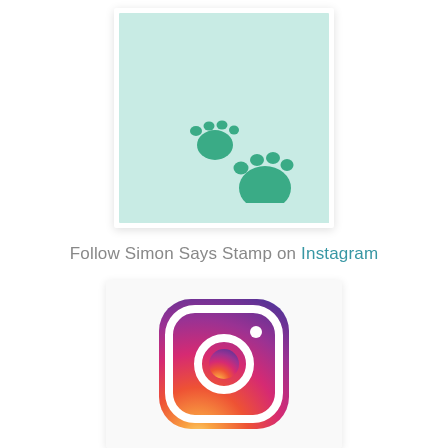[Figure (illustration): A square card with light mint/teal background showing two green paw prints in the lower center-right area, with a white border and subtle drop shadow.]
Follow Simon Says Stamp on Instagram
[Figure (logo): Instagram logo: rounded square with gradient from purple/blue at top-left to orange/yellow at bottom-right, white camera outline icon with circle and lens dot in the center.]